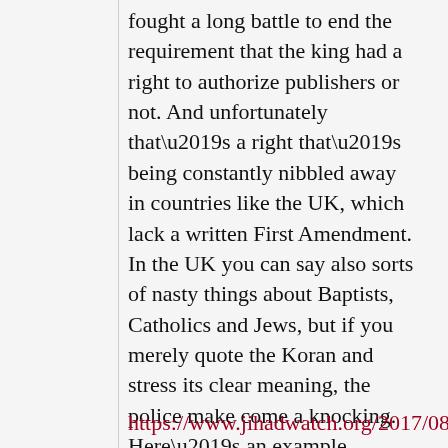fought a long battle to end the requirement that the king had a right to authorize publishers or not. And unfortunately that’s a right that’s being constantly nibbled away in countries like the UK, which lack a written First Amendment. In the UK you can say also sorts of nasty things about Baptists, Catholics and Jews, but if you merely quote the Koran and stress its clear meaning, the police make come a knocking. Here’s an example.
https://www.jihadwatch.org/2017/08/